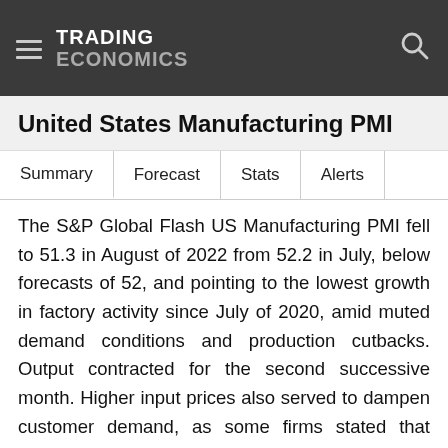TRADING ECONOMICS
United States Manufacturing PMI
Summary   Forecast   Stats   Alerts
The S&P Global Flash US Manufacturing PMI fell to 51.3 in August of 2022 from 52.2 in July, below forecasts of 52, and pointing to the lowest growth in factory activity since July of 2020, amid muted demand conditions and production cutbacks. Output contracted for the second successive month. Higher input prices also served to dampen customer demand, as some firms stated that clients were monitoring inventories and essential spending more closely. New export orders fell solidly as inflationary pressures in key export markets weighed on demand. At the same time, manufacturers registered the slowest rise in cost burdens since January 2021 and signs of improvements in supply chain disruption emerged. Meanwhile, manufacturers recorded a greater degree of optimism regarding the outlook for output over the next